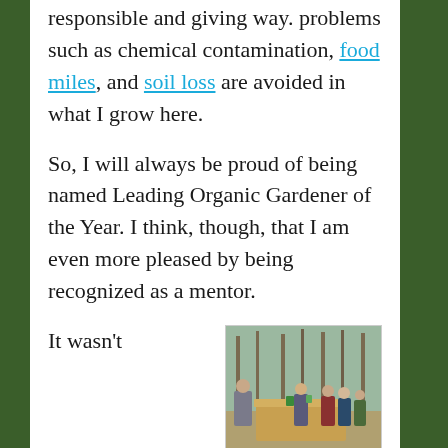responsible and giving way. problems such as chemical contamination, food miles, and soil loss are avoided in what I grow here.
So, I will always be proud of being named Leading Organic Gardener of the Year. I think, though, that I am even more pleased by being recognized as a mentor.
It wasn't
[Figure (photo): Outdoor scene with a person in a grey jacket standing near a large wooden board, surrounded by a group of people in a forested area.]